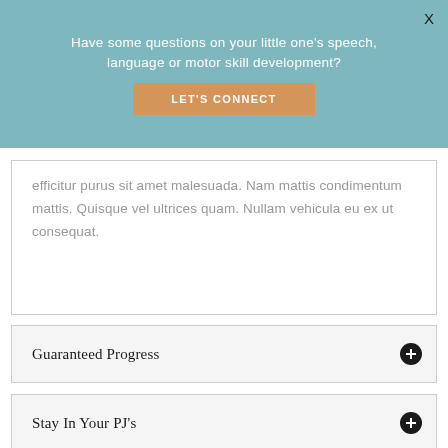Have some questions on your little one's speech, language or motor skill development?
LET'S CONNECT
X
efficitur purus sit amet malesuada. Nam mattis condimentum mattis. Quisque vel ultrices quam. Nullam vehicula eu ex ut consequat.
Guaranteed Progress
Stay In Your PJ's